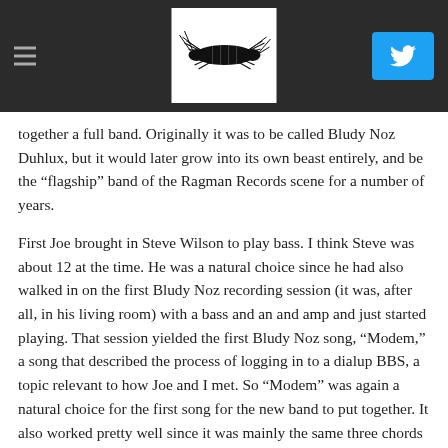[Header bar with logo and Twitter button]
together a full band. Originally it was to be called Bludy Noz Duhlux, but it would later grow into its own beast entirely, and be the “flagship” band of the Ragman Records scene for a number of years.
First Joe brought in Steve Wilson to play bass. I think Steve was about 12 at the time. He was a natural choice since he had also walked in on the first Bludy Noz recording session (it was, after all, in his living room) with a bass and an and amp and just started playing. That session yielded the first Bludy Noz song, “Modem,” a song that described the process of logging in to a dialup BBS, a topic relevant to how Joe and I met. So “Modem” was again a natural choice for the first song for the new band to put together. It also worked pretty well since it was mainly the same three chords over and over,